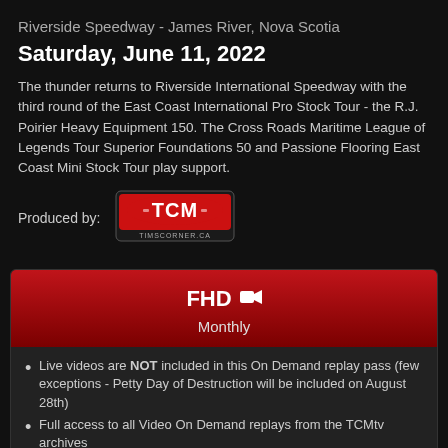Riverside Speedway - James River, Nova Scotia
Saturday, June 11, 2022
The thunder returns to Riverside International Speedway with the third round of the East Coast International Pro Stock Tour - the R.J. Poirier Heavy Equipment 150. The Cross Roads Maritime League of Legends Tour Superior Foundations 50 and Passione Flooring East Coast Mini Stock Tour play support.
Produced by: [TCM / TimsCorner.ca logo]
FHD 🎥
Monthly
Live videos are NOT included in this On Demand replay pass (few exceptions - Petty Day of Destruction will be included on August 28th)
Full access to all Video On Demand replays from the TCMtv archives